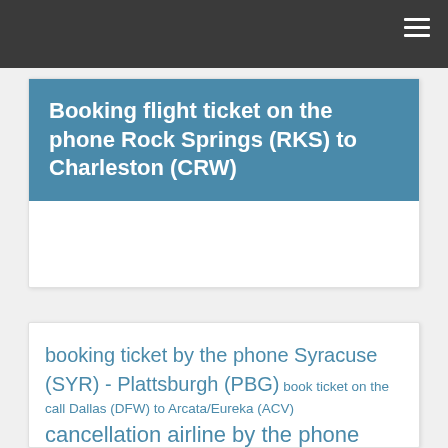Booking flight ticket on the phone Rock Springs (RKS) to Charleston (CRW)
booking ticket by the phone Syracuse (SYR) - Plattsburgh (PBG) book ticket on the call Dallas (DFW) to Arcata/Eureka (ACV) cancellation airline by the phone Nashville (BNA) -